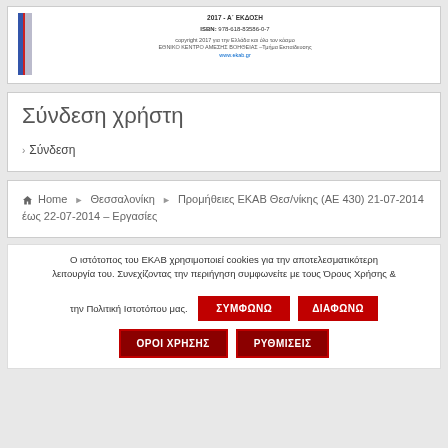[Figure (illustration): Book cover thumbnail with colored spine (blue and red vertical bars) alongside publication details showing 2017 - A' ΕΚΔΟΣΗ, ISBN: 978-618-83586-0-7, copyright text and website link www.ekab.gr]
Σύνδεση χρήστη
Σύνδεση
Home › Θεσσαλονίκη › Προμήθειες ΕΚΑΒ Θεσ/νίκης (ΑΕ 430) 21-07-2014 έως 22-07-2014 – Εργασίες
Ο ιστότοπος του ΕΚΑΒ χρησιμοποιεί cookies για την αποτελεσματικότερη λειτουργία του. Συνεχίζοντας την περιήγηση συμφωνείτε με τους Όρους Χρήσης & την Πολιτική Ιστοτόπου μας.
ΣΥΜΦΩΝΩ  ΔΙΑΦΩΝΩ  ΟΡΟΙ ΧΡΗΣΗΣ  ΡΥΘΜΙΣΕΙΣ